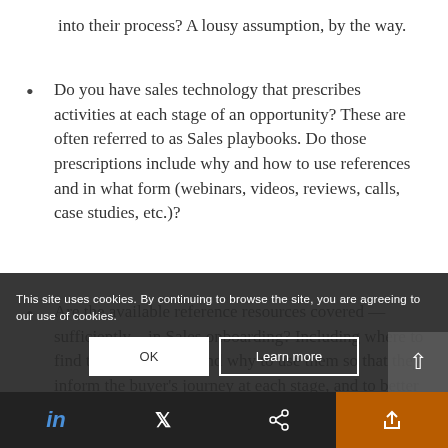into their process? A lousy assumption, by the way.
Do you have sales technology that prescribes activities at each stage of an opportunity? These are often referred to as Sales playbooks. Do those prescriptions include why and how to use references and in what form (webinars, videos, reviews, calls, case studies, etc.)?
Are the available reference resources covered —sufficiently—in Sales onboarding? Including where to find them, and when and why to use them so that they inform the buyer's journey at each stage, and to better enable Sales to proactively provide references, not reactively.
This site uses cookies. By continuing to browse the site, you are agreeing to our use of cookies.